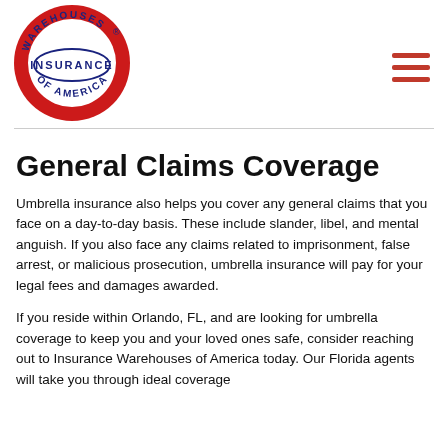[Figure (logo): Warehouses Insurance of America circular red logo with white oval center containing blue 'INSURANCE' text]
General Claims Coverage
Umbrella insurance also helps you cover any general claims that you face on a day-to-day basis. These include slander, libel, and mental anguish. If you also face any claims related to imprisonment, false arrest, or malicious prosecution, umbrella insurance will pay for your legal fees and damages awarded.
If you reside within Orlando, FL, and are looking for umbrella coverage to keep you and your loved ones safe, consider reaching out to Insurance Warehouses of America today. Our Florida agents will take you through ideal coverage